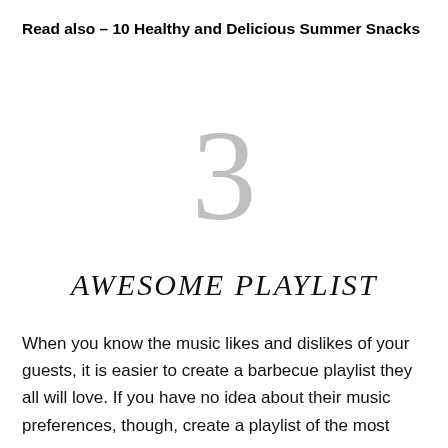Read also – 10 Healthy and Delicious Summer Snacks
3
AWESOME PLAYLIST
When you know the music likes and dislikes of your guests, it is easier to create a barbecue playlist they all will love. If you have no idea about their music preferences, though, create a playlist of the most